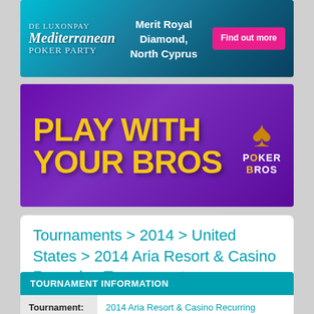[Figure (illustration): Mediterranean Poker Party banner ad — teal ocean background, script logo on left, 'Merit Royal Diamond, North Cyprus' text in center, pink 'Find out more' button on right]
[Figure (illustration): Poker Bros banner ad — purple background with diamond pattern, large yellow bold text 'PLAY WITH YOUR BROS', gold spade icon and Poker Bros logo on right]
Tournaments > 2014 > United States > 2014 Aria Resort & Casino Recurring Tournaments
TOURNAMENT INFORMATION
| Field | Value |
| --- | --- |
| Tournament: | 2014 Aria Resort & Casino Recurring Tournaments |
| Date: | Jan 1 - Dec 31, 2014 |
|  | Aria Resort & Casino, Las Vegas, NV, United Stat... |